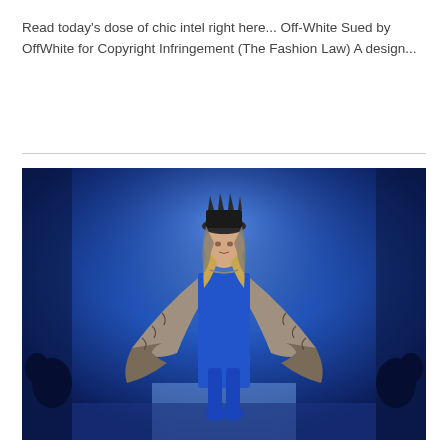Read today's dose of chic intel right here... Off-White Sued by OffWhite for Copyright Infringement (The Fashion Law) A design...
[Figure (photo): Fashion runway photo showing a model wearing a royal blue outfit with a dramatic fur cape/stole draped over the shoulders and a crown-like hat, walking on a runway against a bright blue lit background.]